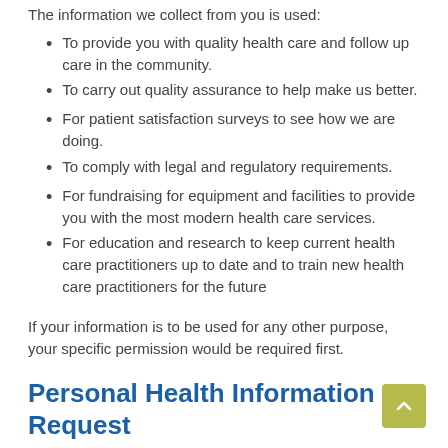The information we collect from you is used:
To provide you with quality health care and follow up care in the community.
To carry out quality assurance to help make us better.
For patient satisfaction surveys to see how we are doing.
To comply with legal and regulatory requirements.
For fundraising for equipment and facilities to provide you with the most modern health care services.
For education and research to keep current health care practitioners up to date and to train new health care practitioners for the future
If your information is to be used for any other purpose, your specific permission would be required first.
Personal Health Information Request